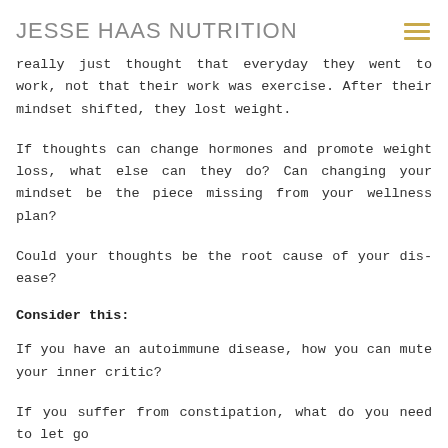JESSE HAAS NUTRITION
really just thought that everyday they went to work, not that their work was exercise. After their mindset shifted, they lost weight.
If thoughts can change hormones and promote weight loss, what else can they do? Can changing your mindset be the piece missing from your wellness plan?
Could your thoughts be the root cause of your dis-ease?
Consider this:
If you have an autoimmune disease, how you can mute your inner critic?
If you suffer from constipation, what do you need to let go